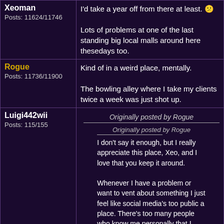| User | Post |
| --- | --- |
| Xeoman
Posts: 11624/11746 | I'd take a year off from there at least. 😕

Lots of problems at one of the last standing big local malls around here thesedays too. |
| Rogue
Posts: 11736/11900 | Kind of in a weird place, mentally.

The bowling alley where I take my clients twice a week was just shot up. |
| Luigi442wii
Posts: 115/155 | [Quote: Originally posted by Rogue]
[Inner Quote: Originally posted by Rogue]
I don't say it enough, but I really appreciate this place, Xeo, and I love that you keep it around.

Whenever I have a problem or want to vent about something I just feel like social media's too public a place. There's too many people who know me personally that I don't want to see me upset. |